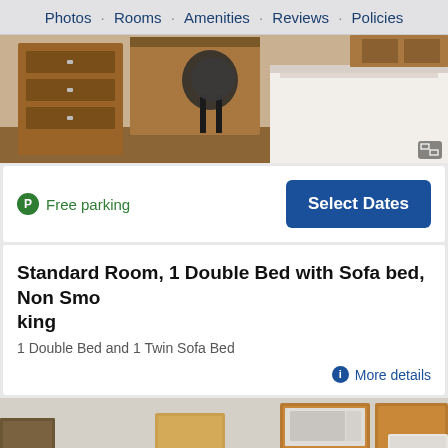Photos · Rooms · Amenities · Reviews · Policies
[Figure (photo): Hotel room photo showing wooden dresser with drawers, office chair, desk area, and white bed with wood furniture in background]
Free parking
Select Dates
Standard Room, 1 Double Bed with Sofa bed, Non Smoking
1 Double Bed and 1 Twin Sofa Bed
More details
[Figure (photo): Hotel room kitchen area with microwave, open shelving, TV on stand, and refrigerator]